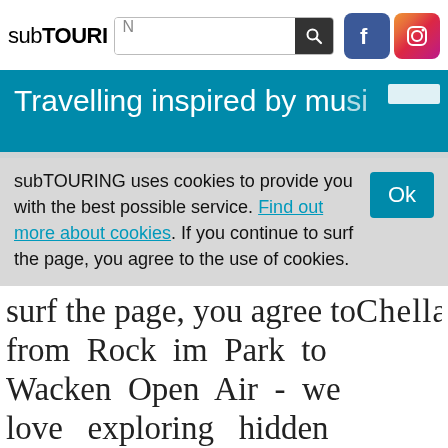subTOURING [search bar] [Facebook icon] [Instagram icon]
Travelling inspired by music
subTOURING uses cookies to provide you with the best possible service. Find out more about cookies. If you continue to surf the page, you agree to the use of cookies.
Ok
from Rock im Park to Coachella, from Rock im Park to Wacken Open Air - we love exploring hidden